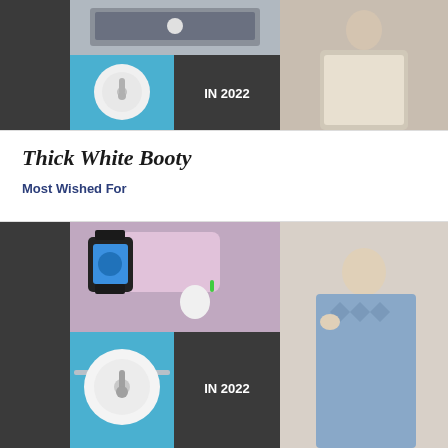[Figure (photo): Top collage of trending products 2022: vertical dark panel with rotated text TRENDING PRO, white circular wireless charger device on blue background, dark gray panel with IN 2022 text, woman in white sweater holding small device]
Thick White Booty
Most Wished For
[Figure (photo): Bottom collage of trending products 2022: vertical dark panel with rotated text TRENDING PRODUCTS, smartwatch and earbuds wireless charger on colorful surface, white circular wireless charger on blue laptop, dark panel with IN 2022, woman in blue sweater listening, woman in white sweater holding device]